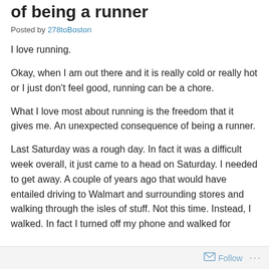of being a runner
Posted by 278toBoston
I love running.
Okay, when I am out there and it is really cold or really hot or I just don't feel good, running can be a chore.
What I love most about running is the freedom that it gives me.  An unexpected consequence of being a runner.
Last Saturday was a rough day.  In fact it was a difficult week overall, it just came to a head on Saturday.  I needed to get away.  A couple of years ago that would have entailed driving to Walmart and surrounding stores and walking through the isles of stuff.  Not this time.  Instead, I walked.  In fact I turned off my phone and walked for
Follow